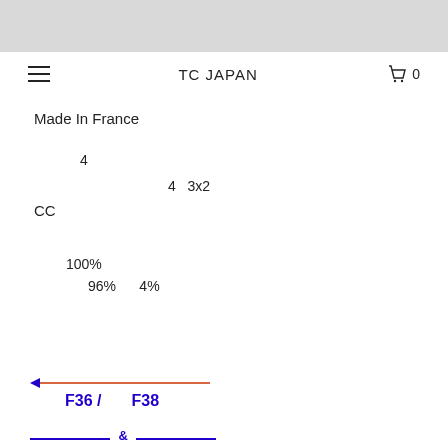TC JAPAN
Made In France
4
4   3x2
CC
100%
96%   4%
F36 /   F38
&
&